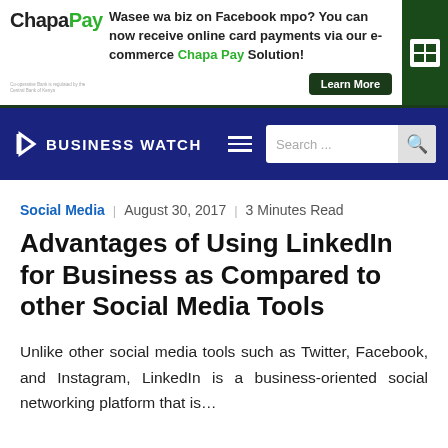[Figure (screenshot): ChapaP ay advertisement banner with logo, text about Facebook online card payments, Learn More button, and green/dark design]
BUSINESS WATCH — navigation bar with search
Social Media   August 30, 2017   3 Minutes Read
Advantages of Using LinkedIn for Business as Compared to other Social Media Tools
Unlike other social media tools such as Twitter, Facebook, and Instagram, LinkedIn is a business-oriented social networking platform that is…